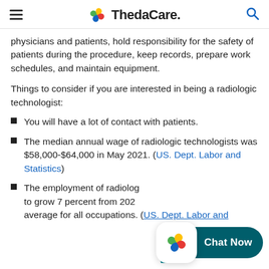ThedaCare.
physicians and patients, hold responsibility for the safety of patients during the procedure, keep records, prepare work schedules, and maintain equipment.
Things to consider if you are interested in being a radiologic technologist:
You will have a lot of contact with patients.
The median annual wage of radiologic technologists was $58,000-$64,000 in May 2021. (US. Dept. Labor and Statistics)
The employment of radiologic [technologists] is projected to grow 7 percent from 202[0-2030], [faster than the] average for all occupations. (US. Dept. Labor and [Statistics])